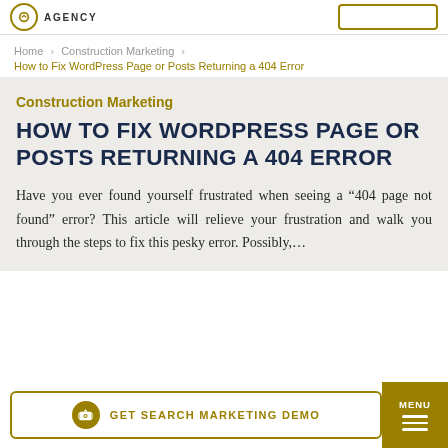AGENCY
Home > Construction Marketing > How to Fix WordPress Page or Posts Returning a 404 Error
Construction Marketing
HOW TO FIX WORDPRESS PAGE OR POSTS RETURNING A 404 ERROR
Have you ever found yourself frustrated when seeing a “404 page not found” error? This article will relieve your frustration and walk you through the steps to fix this pesky error. Possibly,…
GET SEARCH MARKETING DEMO  MENU